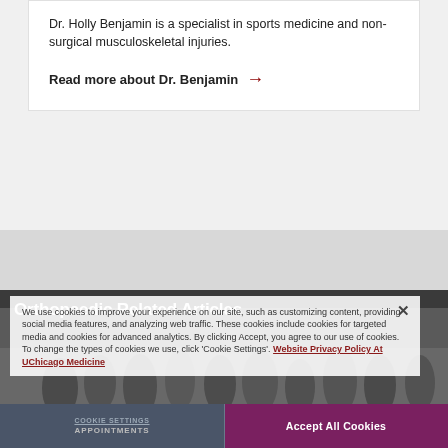Dr. Holly Benjamin is a specialist in sports medicine and non-surgical musculoskeletal injuries.
Read more about Dr. Benjamin →
Orthopaedic Related Articles
[Figure (photo): Group of people at what appears to be an outdoor groundbreaking or event ceremony, partially obscured by a cookie consent overlay]
We use cookies to improve your experience on our site, such as customizing content, providing social media features, and analyzing web traffic. These cookies include cookies for targeted media and cookies for advanced analytics. By clicking Accept, you agree to our use of cookies. To change the types of cookies we use, click 'Cookie Settings'. Website Privacy Policy At UChicago Medicine
APPOINTMENTS | MYCHART